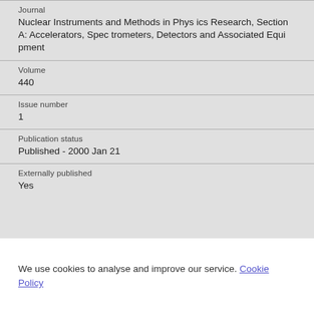Journal
Nuclear Instruments and Methods in Physics Research, Section A: Accelerators, Spectrometers, Detectors and Associated Equipment
Volume
440
Issue number
1
Publication status
Published - 2000 Jan 21
Externally published
Yes
We use cookies to analyse and improve our service. Cookie Policy